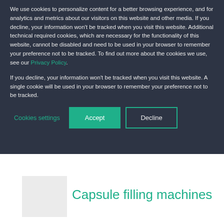We use cookies to personalize content for a better browsing experience, and for analytics and metrics about our visitors on this website and other media. If you decline, your information won't be tracked when you visit this website. Additional technical required cookies, which are necessary for the functionality of this website, cannot be disabled and need to be used in your browser to remember your preference not to be tracked. To find out more about the cookies we use, see our Privacy Policy.
If you decline, your information won't be tracked when you visit this website. A single cookie will be used in your browser to remember your preference not to be tracked.
Cookies settings | Accept | Decline
Capsule filling machines